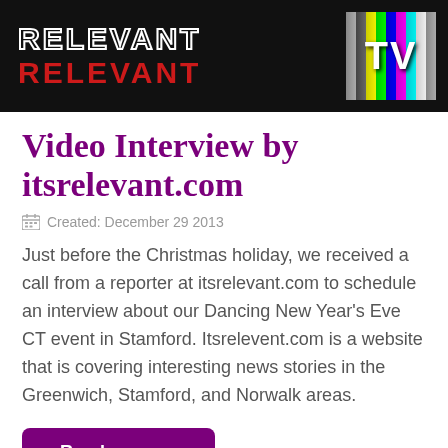[Figure (logo): Relevant TV banner with white outlined text 'RELEVANT' on black background and colorful TV test pattern on the right showing 'TV']
Video Interview by itsrelevant.com
Created: December 29 2013
Just before the Christmas holiday, we received a call from a reporter at itsrelevant.com to schedule an interview about our Dancing New Year's Eve CT event in Stamford. Itsrelevent.com is a website that is covering interesting news stories in the Greenwich, Stamford, and Norwalk areas.
Read more ...